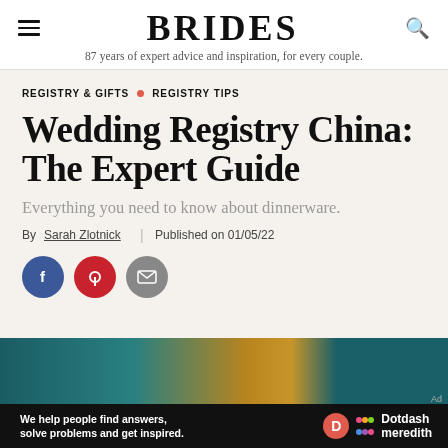BRIDES
87 years of expert advice and inspiration, for every couple.
REGISTRY & GIFTS • REGISTRY TIPS
Wedding Registry China: The Expert Guide
Everything you need to know about dinnerware.
By Sarah Zlotnick | Published on 01/05/22
[Figure (illustration): Social share buttons: Facebook (blue circle), Pinterest (red circle), Email (gray circle)]
[Figure (photo): Partial photo of dinnerware/china in teal and gold tones]
[Figure (infographic): Dotdash Meredith advertisement banner: 'We help people find answers, solve problems and get inspired.' with Dotdash Meredith logo]